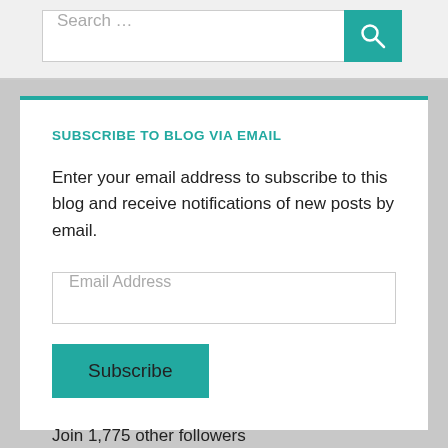Search …
SUBSCRIBE TO BLOG VIA EMAIL
Enter your email address to subscribe to this blog and receive notifications of new posts by email.
Email Address
Subscribe
Join 1,775 other followers